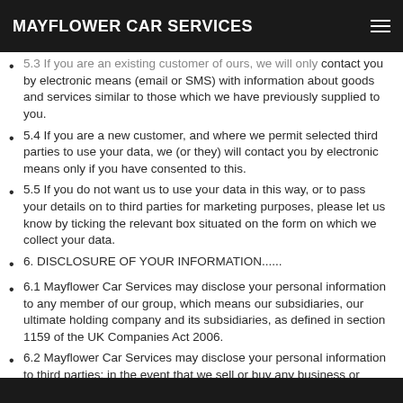MAYFLOWER CAR SERVICES
5.3 If you are an existing customer of ours, we will only contact you by electronic means (email or SMS) with information about goods and services similar to those which we have previously supplied to you.
5.4 If you are a new customer, and where we permit selected third parties to use your data, we (or they) will contact you by electronic means only if you have consented to this.
5.5 If you do not want us to use your data in this way, or to pass your details on to third parties for marketing purposes, please let us know by ticking the relevant box situated on the form on which we collect your data.
6. DISCLOSURE OF YOUR INFORMATION......
6.1 Mayflower Car Services may disclose your personal information to any member of our group, which means our subsidiaries, our ultimate holding company and its subsidiaries, as defined in section 1159 of the UK Companies Act 2006.
6.2 Mayflower Car Services may disclose your personal information to third parties: in the event that we sell or buy any business or assets, in which case we may disclose your